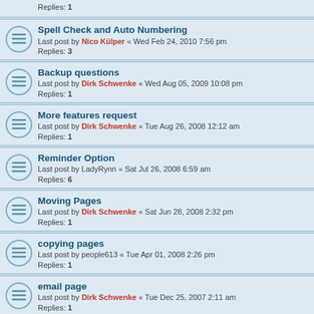Replies: 1
Spell Check and Auto Numbering — Last post by Nico Külper « Wed Feb 24, 2010 7:56 pm — Replies: 3
Backup questions — Last post by Dirk Schwenke « Wed Aug 05, 2009 10:08 pm — Replies: 1
More features request — Last post by Dirk Schwenke « Tue Aug 26, 2008 12:12 am — Replies: 1
Reminder Option — Last post by LadyRynn « Sat Jul 26, 2008 6:59 am — Replies: 6
Moving Pages — Last post by Dirk Schwenke « Sat Jun 28, 2008 2:32 pm — Replies: 1
copying pages — Last post by people613 « Tue Apr 01, 2008 2:26 pm — Replies: 1
email page — Last post by Dirk Schwenke « Tue Dec 25, 2007 2:11 am — Replies: 1
Multi user — Last post by Dirk Schwenke « Mon Feb 12, 2007 7:13 am — Replies: 1
the arrows — Last post by Dirk Schwenke « Mon Oct 16, 2006 10:09 am — Replies: 1